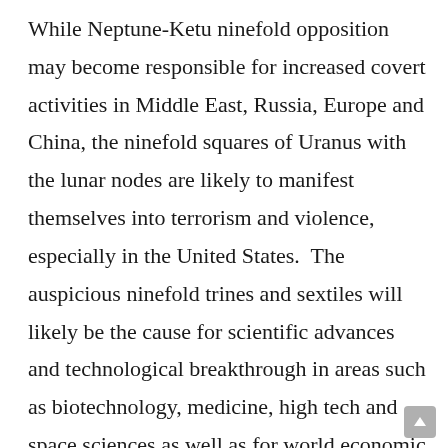While Neptune-Ketu ninefold opposition may become responsible for increased covert activities in Middle East, Russia, Europe and China, the ninefold squares of Uranus with the lunar nodes are likely to manifest themselves into terrorism and violence, especially in the United States.  The auspicious ninefold trines and sextiles will likely be the cause for scientific advances and technological breakthrough in areas such as biotechnology, medicine, high tech and space sciences as well as for world economic growth.